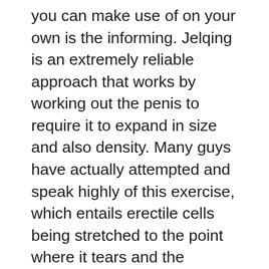you can make use of on your own is the informing. Jelqing is an extremely reliable approach that works by working out the penis to require it to expand in size and also density. Many guys have actually attempted and speak highly of this exercise, which entails erectile cells being stretched to the point where it tears and the resulting tissue buildup is used to help tone the organ. If you intend to experience much better results in the room, make certain to adhere to this basic penis enlargement exercise routine.
A penis extension is a technique of adding size to your penis that entails making use of an extender (a.k.a. penis ring, extender brace, or grip gadget) held in between your legs and also your scrotum. It uses the